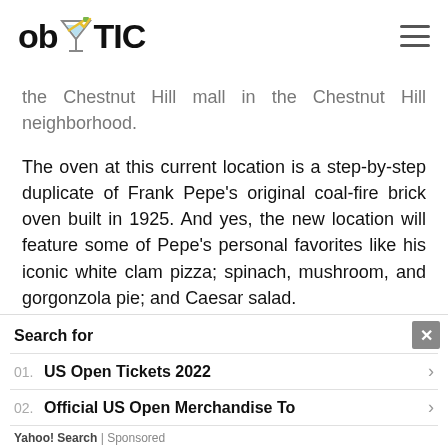ob TIC
the Chestnut Hill mall in the Chestnut Hill neighborhood.
The oven at this current location is a step-by-step duplicate of Frank Pepe’s original coal-fire brick oven built in 1925. And yes, the new location will feature some of Pepe’s personal favorites like his iconic white clam pizza; spinach, mushroom, and gorgonzola pie; and Caesar salad.
“The number one priority is maintaining our family tradition of serving fresh, high-
[Figure (other): Advertisement overlay: Search for section with Yahoo Search sponsored links including 'US Open Tickets 2022' and 'Official US Open Merchandise To']